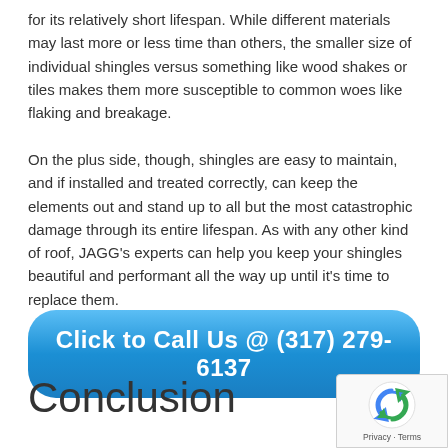for its relatively short lifespan. While different materials may last more or less time than others, the smaller size of individual shingles versus something like wood shakes or tiles makes them more susceptible to common woes like flaking and breakage.
On the plus side, though, shingles are easy to maintain, and if installed and treated correctly, can keep the elements out and stand up to all but the most catastrophic damage through its entire lifespan. As with any other kind of roof, JAGG’s experts can help you keep your shingles beautiful and performant all the way up until it’s time to replace them.
[Figure (other): Blue rounded rectangle button with white bold text reading 'Click to Call Us @ (317) 279-6137']
Conclusion